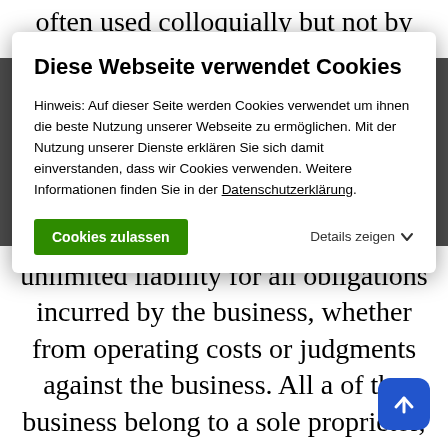often used colloquially but not by lawyers or
public officials to refer to a company, but this
[Figure (screenshot): Cookie consent modal dialog with title 'Diese Webseite verwendet Cookies', body text about cookie usage with a link to Datenschutzerklärung, a green 'Cookies zulassen' button, and a 'Details zeigen' dropdown option with chevron.]
unlimited liability for all obligations incurred by the business, whether from operating costs or judgments against the business. All a of the business belong to a sole proprietor,